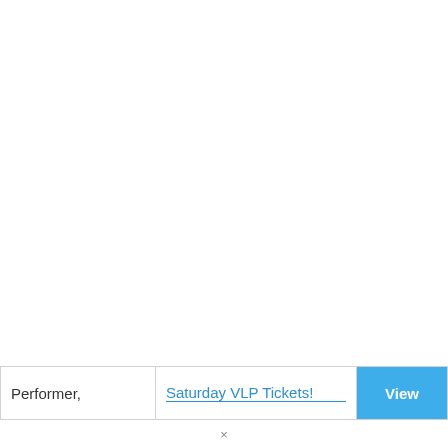Performer,
Saturday VLP Tickets!
View
×